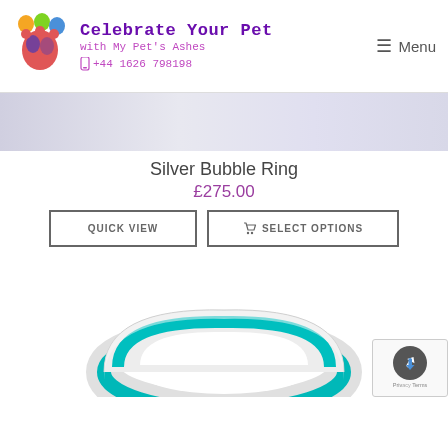Celebrate Your Pet with My Pet's Ashes | +44 1626 798198 | Menu
[Figure (photo): Blurred product image banner at top of product listing page]
Silver Bubble Ring
£275.00
QUICK VIEW | SELECT OPTIONS
[Figure (photo): Silver ring with teal/turquoise stripe band, shown partially cropped at bottom of page]